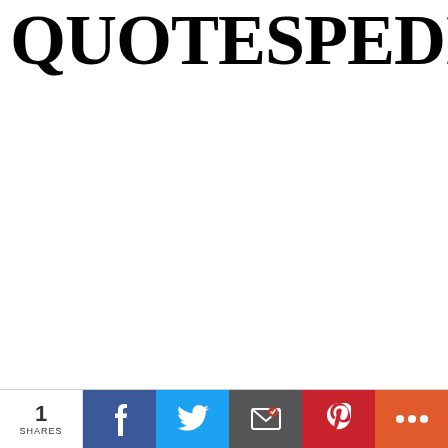QUOTESPEDIA
1 SHARES  [Facebook] [Twitter] [Email] [Pinterest] [More]